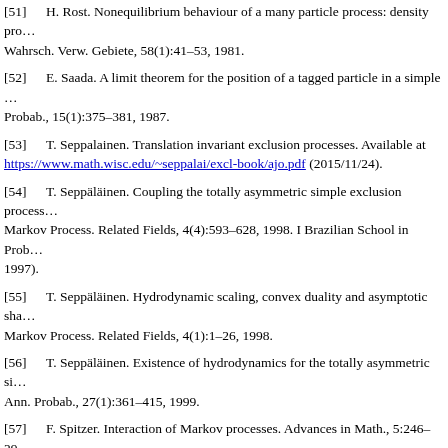[51]    H. Rost. Nonequilibrium behaviour of a many particle process: density pro... Wahrsch. Verw. Gebiete, 58(1):41–53, 1981.
[52]    E. Saada. A limit theorem for the position of a tagged particle in a simple ... Probab., 15(1):375–381, 1987.
[53]    T. Seppalainen. Translation invariant exclusion processes. Available at https://www.math.wisc.edu/~seppalai/excl-book/ajo.pdf (2015/11/24).
[54]    T. Seppäläinen. Coupling the totally asymmetric simple exclusion process... Markov Process. Related Fields, 4(4):593–628, 1998. I Brazilian School in Prob... 1997).
[55]    T. Seppäläinen. Hydrodynamic scaling, convex duality and asymptotic sha... Markov Process. Related Fields, 4(1):1–26, 1998.
[56]    T. Seppäläinen. Existence of hydrodynamics for the totally asymmetric si... Ann. Probab., 27(1):361–415, 1999.
[57]    F. Spitzer. Interaction of Markov processes. Advances in Math., 5:246–29... MR0268959
[58]    W. D. Wick. A dynamical phase transition in an infinite particle system. J. ... 6):1015–1025, 1985.
Home | Current | Past volumes | About | Login | Notify | Contact |
Probability Surveys. ISSN: 1549-5787